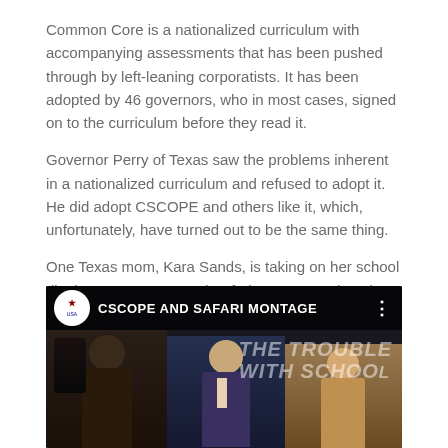Common Core is a nationalized curriculum with accompanying assessments that has been pushed through by left-leaning corporatists. It has been adopted by 46 governors, who in most cases, signed on to the curriculum before they read it.
Governor Perry of Texas saw the problems inherent in a nationalized curriculum and refused to adopt it. He did adopt CSCOPE and others like it, which, unfortunately, have turned out to be the same thing.
One Texas mom, Kara Sands, is taking on her school district over SCOPE and Safari Montage. What she found out should alert parents as to what is now going on in our educational system throughout the country.
[Figure (screenshot): Video thumbnail showing 'CSCOPE AND SAFARI MONTAGE' title with three people (woman on left, man in center, woman on right) and text 'THE TROUBLE WITH SCHOOL' overlaid on a dark background.]